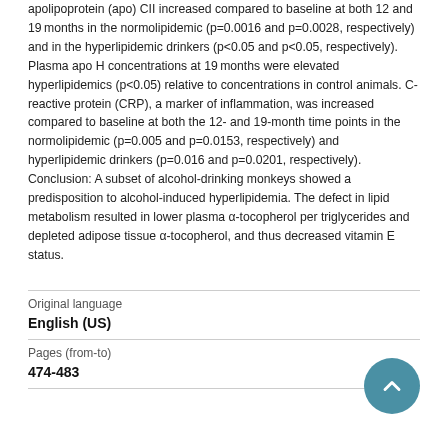apolipoprotein (apo) CII increased compared to baseline at both 12 and 19 months in the normolipidemic (p=0.0016 and p=0.0028, respectively) and in the hyperlipidemic drinkers (p<0.05 and p<0.05, respectively). Plasma apo H concentrations at 19 months were elevated hyperlipidemics (p<0.05) relative to concentrations in control animals. C-reactive protein (CRP), a marker of inflammation, was increased compared to baseline at both the 12- and 19-month time points in the normolipidemic (p=0.005 and p=0.0153, respectively) and hyperlipidemic drinkers (p=0.016 and p=0.0201, respectively). Conclusion: A subset of alcohol-drinking monkeys showed a predisposition to alcohol-induced hyperlipidemia. The defect in lipid metabolism resulted in lower plasma α-tocopherol per triglycerides and depleted adipose tissue α-tocopherol, and thus decreased vitamin E status.
| Field | Value |
| --- | --- |
| Original language | English (US) |
| Pages (from-to) | 474-483 |